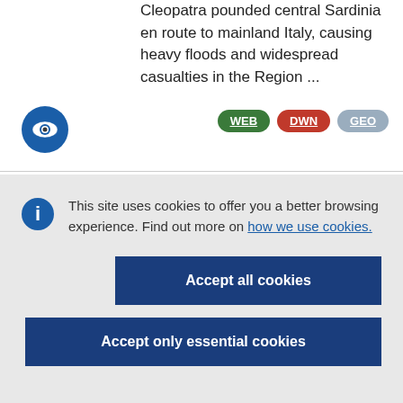Cleopatra pounded central Sardinia en route to mainland Italy, causing heavy floods and widespread casualties in the Region ...
[Figure (logo): Blue circular eye icon (Copernicus EMS logo)]
WEB  DWN  GEO (badge buttons)
This site uses cookies to offer you a better browsing experience. Find out more on how we use cookies.
Accept all cookies
Accept only essential cookies